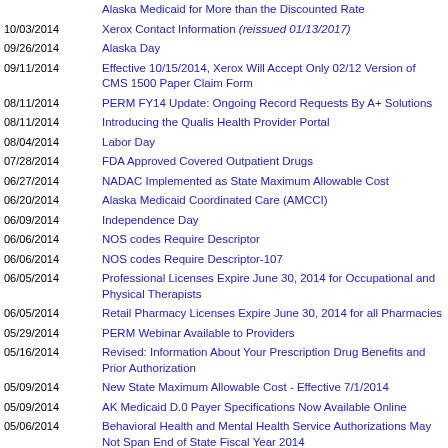Alaska Medicaid for More than the Discounted Rate
10/03/2014 Xerox Contact Information (reissued 01/13/2017)
09/26/2014 Alaska Day
09/11/2014 Effective 10/15/2014, Xerox Will Accept Only 02/12 Version of CMS 1500 Paper Claim Form
08/11/2014 PERM FY14 Update: Ongoing Record Requests By A+ Solutions
08/11/2014 Introducing the Qualis Health Provider Portal
08/04/2014 Labor Day
07/28/2014 FDA Approved Covered Outpatient Drugs
06/27/2014 NADAC Implemented as State Maximum Allowable Cost
06/20/2014 Alaska Medicaid Coordinated Care (AMCCI)
06/09/2014 Independence Day
06/06/2014 NOS codes Require Descriptor
06/06/2014 NOS codes Require Descriptor-107
06/05/2014 Professional Licenses Expire June 30, 2014 for Occupational and Physical Therapists
06/05/2014 Retail Pharmacy Licenses Expire June 30, 2014 for all Pharmacies
05/29/2014 PERM Webinar Available to Providers
05/16/2014 Revised: Information About Your Prescription Drug Benefits and Prior Authorization
05/09/2014 New State Maximum Allowable Cost - Effective 7/1/2014
05/09/2014 AK Medicaid D.0 Payer Specifications Now Available Online
05/06/2014 Behavioral Health and Mental Health Service Authorizations May Not Span End of State Fiscal Year 2014
05/05/2014 Dental Service Authorizations Expire June 30, 2014
04/30/2014 Submit Copies of All Updated Licenses and Certifications to Xerox upon Renewal
04/29/2014 Do You Know Who Your Organization Administrator Is?